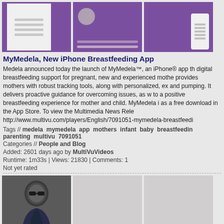[Figure (screenshot): Three app screenshot thumbnails on purple background for MyMedela iPhone app]
MyMedela, New iPhone Breastfeeding App
Medela announced today the launch of MyMedela™, an iPhone® app that provides digital breastfeeding support for pregnant, new and experienced mothers. It provides mothers with robust tracking tools, along with personalized, expert guidance on breastfeeding and pumping. It delivers proactive guidance for overcoming issues, as well as support to a positive breastfeeding experience for mother and child. MyMedela is available as a free download in the App Store. To view the Multimedia News Release, go to: http://www.multivu.com/players/English/7091051-mymedela-breastfeeding
Tags // medela mymedela app mothers infant baby breastfeeding parenting multivu 7091051
Categories // People and Blog
Added: 2601 days ago by MultiVuVideos
Runtime: 1m33s | Views: 21830 | Comments: 1
Not yet rated
[Figure (photo): Three thumbnails for T.I. Livin Your Life video, first shows T.I. wearing sunglasses]
T.I. - Livin' Your Life
T.I. Featuring Rihanna - Livin' Your Life Lyric (Rihanna): You're gonna be fancy cars, fancy car-ars. And then you'll see, you're gonna go far. Cause you are-are. So live your life, ay ay ay. Instead of chasing that paper. Just live your life, ay ay. You got no time for no inters. Just live your life (Oh!), ay ay ay.